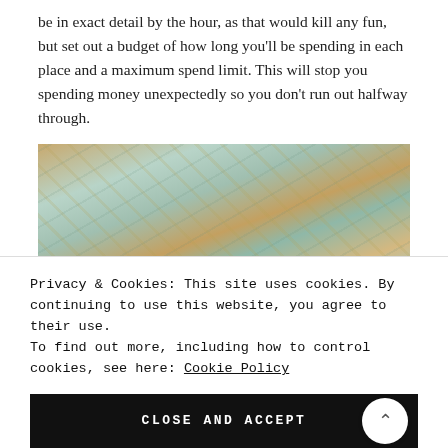be in exact detail by the hour, as that would kill any fun, but set out a budget of how long you'll be spending in each place and a maximum spend limit. This will stop you spending money unexpectedly so you don't run out halfway through.
[Figure (photo): Overhead photo of various paper currency (dollar bills and other banknotes) scattered on top of a map, with some colorful objects visible.]
Privacy & Cookies: This site uses cookies. By continuing to use this website, you agree to their use.
To find out more, including how to control cookies, see here: Cookie Policy
CLOSE AND ACCEPT